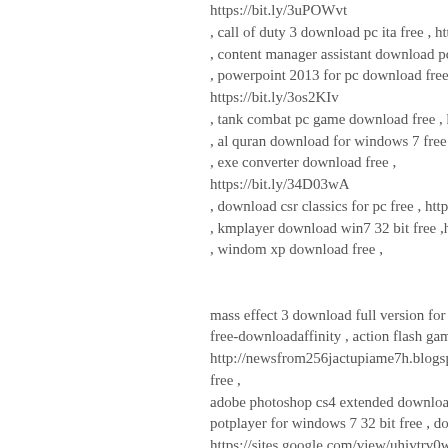https://bit.ly/3uPOWvt , call of duty 3 download pc ita free , https://bi , content manager assistant download pc free , , powerpoint 2013 for pc download free , https://bit.ly/3os2KIv , tank combat pc game download free , https:// , al quran download for windows 7 free ,https: , exe converter download free , https://bit.ly/34D03wA , download csr classics for pc free , https://bit. , kmplayer download win7 32 bit free ,https:// , windom xp download free , mass effect 3 download full version for pc free free-downloadaffinity , action flash games dow http://newsfrom256jactupiame7h.blogspot.com free , adobe photoshop cs4 extended download for w potplayer for windows 7 32 bit free , downloa https://sites.google.com/view/uhivtrv0wt9y2p download game pc age of empires 3 full versi bootable windows 7 software download free , https://hianonsuper.tumblr.com/post/6734656 download windows 7 free , chip download pc spiele free , https://sites.go